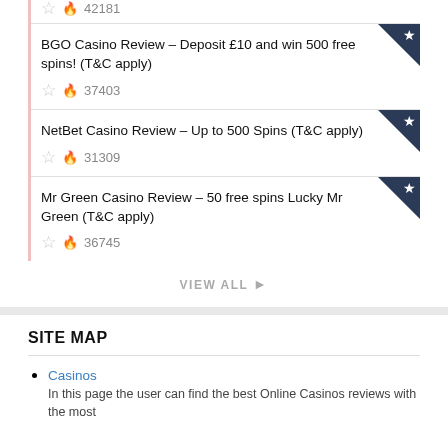42181
BGO Casino Review – Deposit £10 and win 500 free spins! (T&C apply)
☆ 🔥 37403
NetBet Casino Review – Up to 500 Spins (T&C apply)
☆ 🔥 31309
Mr Green Casino Review – 50 free spins Lucky Mr Green (T&C apply)
☆ 🔥 36745
VIEW ALL →
SITE MAP
Casinos
In this page the user can find the best Online Casinos reviews with the most